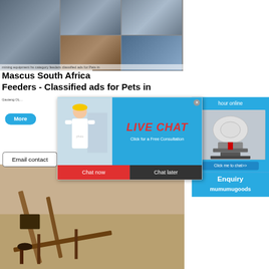[Figure (photo): Grid of mining/construction equipment photos - conveyor belts, crushers, feeders]
Mascus South Africa
mining equipment hs category feeders classified ads for Pets in Gauteng OL
Feeders - Classified ads for Pets in Gauteng OL
[Figure (photo): Live Chat popup with smiling woman in hard hat, engineers in background, LIVE CHAT header, Click for a Free Consultation, Chat now / Chat later buttons]
hour online
[Figure (photo): Industrial cone crusher machine image in right sidebar]
Click me to chat>>
Enquiry
mumumugoods
More
Email contact
[Figure (photo): Bottom image showing mining conveyor/feeder equipment in open field]